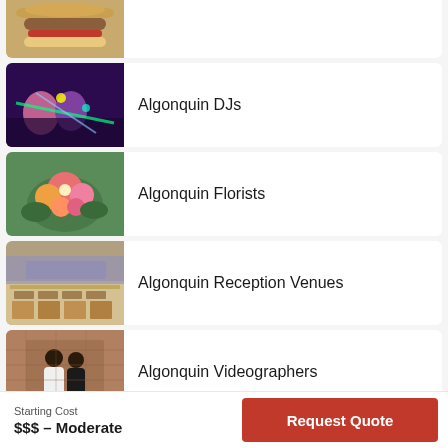[Figure (photo): Partial card at top showing food (burger) on wooden board]
Algonquin DJs
Algonquin Florists
Algonquin Reception Venues
Algonquin Videographers
Starting Cost
$$$ – Moderate
Request Quote